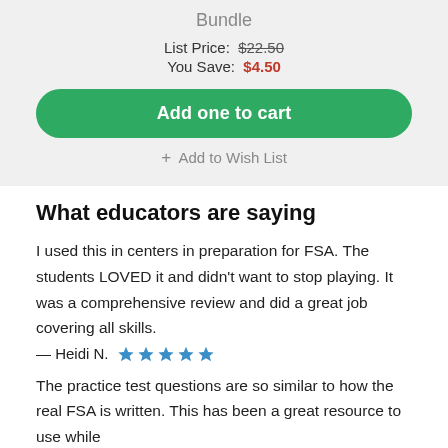Bundle
List Price: $22.50
You Save: $4.50
Add one to cart
+ Add to Wish List
What educators are saying
I used this in centers in preparation for FSA. The students LOVED it and didn't want to stop playing. It was a comprehensive review and did a great job covering all skills.
— Heidi N. ★★★★★
The practice test questions are so similar to how the real FSA is written. This has been a great resource to use while